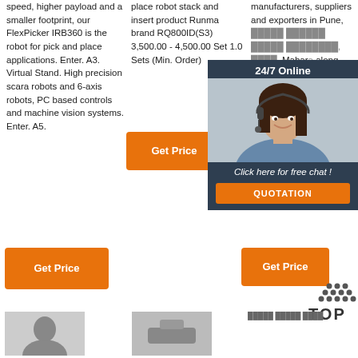speed, higher payload and a smaller footprint, our FlexPicker IRB360 is the robot for pick and place applications. Enter. A3. Virtual Stand. High precision scara robots and 6-axis robots, PC based controls and machine vision systems. Enter. A5.
place robot stack and insert product Runma brand RQ800ID(S3) 3,500.00 - 4,500.00 Set 1.0 Sets (Min. Order)
manufacturers, suppliers and exporters in Pune, along with contact address here Scara Robot, manufacturers, wholesalers, traders Single ...
[Figure (photo): Chat widget with woman wearing headset, 24/7 Online header, Click here for free chat text, and QUOTATION button]
[Figure (other): TOP button with dot pattern]